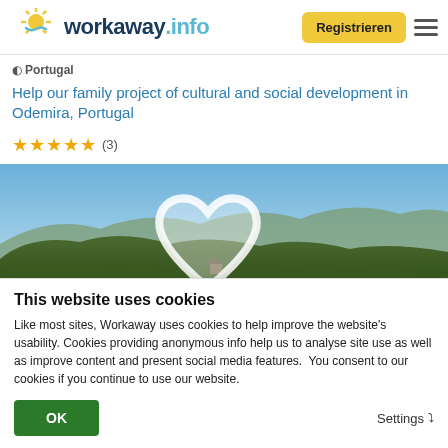[Figure (logo): workaway.info logo with sun icon]
Registrieren
⊘ Portugal
Help our family project of cultural and social development in Odemira, Portugal
★★★★★ (3)
[Figure (photo): Landscape photo of green hills and mountains under a blue sky, with a heart/favorite icon in the top right corner]
This website uses cookies
Like most sites, Workaway uses cookies to help improve the website's usability. Cookies providing anonymous info help us to analyse site use as well as improve content and present social media features.  You consent to our cookies if you continue to use our website.
OK
Settings ∨